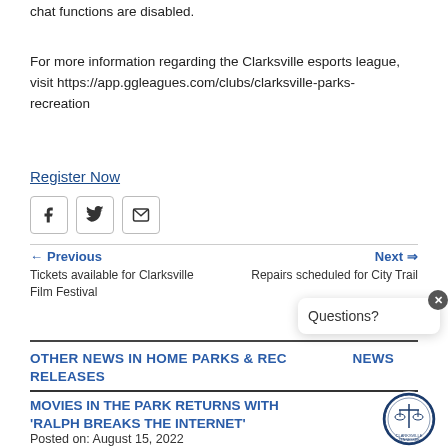chat functions are disabled.
For more information regarding the Clarksville esports league, visit https://app.ggleagues.com/clubs/clarksville-parks-recreation
Register Now
← Previous
Tickets available for Clarksville Film Festival
Next ⇒
Repairs scheduled for City Trail
OTHER NEWS IN HOME PARKS & RECREATION NEWS RELEASES
MOVIES IN THE PARK RETURNS WITH 'RALPH BREAKS THE INTERNET'
Posted on: August 15, 2022